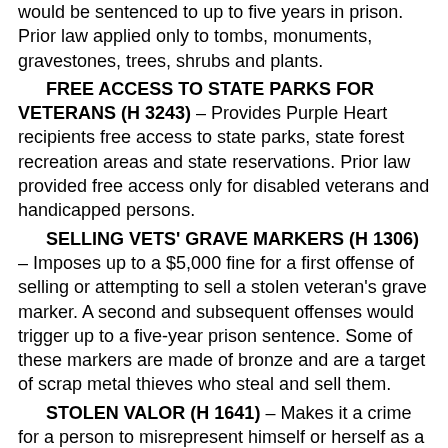would be sentenced to up to five years in prison. Prior law applied only to tombs, monuments, gravestones, trees, shrubs and plants.
FREE ACCESS TO STATE PARKS FOR VETERANS (H 3243) – Provides Purple Heart recipients free access to state parks, state forest recreation areas and state reservations. Prior law provided free access only for disabled veterans and handicapped persons.
SELLING VETS' GRAVE MARKERS (H 1306) – Imposes up to a $5,000 fine for a first offense of selling or attempting to sell a stolen veteran's grave marker. A second and subsequent offenses would trigger up to a five-year prison sentence. Some of these markers are made of bronze and are a target of scrap metal thieves who steal and sell them.
STOLEN VALOR (H 1641) – Makes it a crime for a person to misrepresent himself or herself as a veteran. Violators would be subject to a one-year prison sentence and/or a $1,000 fine.
POLICE SHOOTINGS (H 3480) – A bill pending before the Committee on Public Safety and Homeland Security would b...